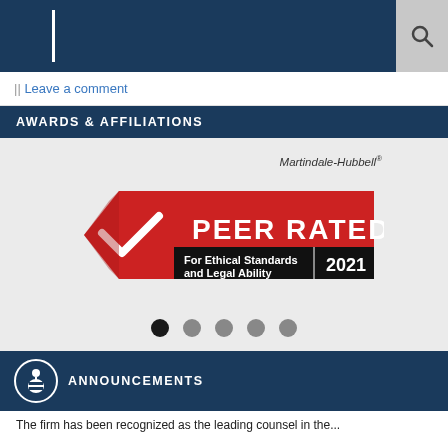Law firm website header with navigation and search icon
|| Leave a comment
AWARDS & AFFILIATIONS
[Figure (logo): Martindale-Hubbell Peer Rated badge for Ethical Standards and Legal Ability 2021]
ANNOUNCEMENTS
The firm has been recognized as the leading counsel in the...